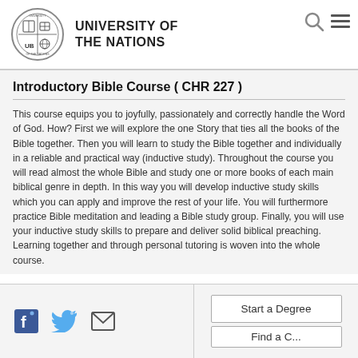University of the Nations
Introductory Bible Course ( CHR 227 )
This course equips you to joyfully, passionately and correctly handle the Word of God. How? First we will explore the one Story that ties all the books of the Bible together. Then you will learn to study the Bible together and individually in a reliable and practical way (inductive study). Throughout the course you will read almost the whole Bible and study one or more books of each main biblical genre in depth. In this way you will develop inductive study skills which you can apply and improve the rest of your life. You will furthermore practice Bible meditation and leading a Bible study group. Finally, you will use your inductive study skills to prepare and deliver solid biblical preaching. Learning together and through personal tutoring is woven into the whole course.
Start a Degree | Find a Course (social icons: Facebook, Twitter, Email)